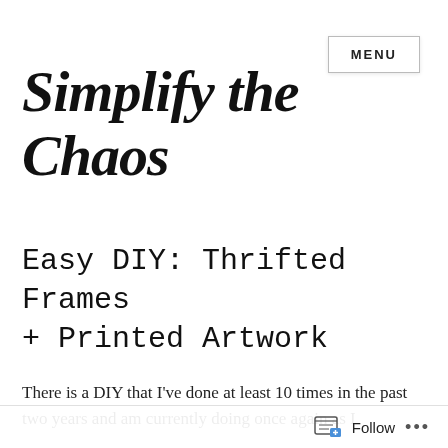MENU
Simplify the Chaos
Easy DIY: Thrifted Frames + Printed Artwork
There is a DIY that I've done at least 10 times in the past two years and am currently doing once again as I
Follow ...